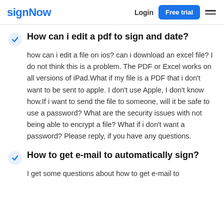signNow  Login  Free trial
How can i edit a pdf to sign and date?
how can i edit a file on ios? can i download an excel file? I do not think this is a problem. The PDF or Excel works on all versions of iPad.What if my file is a PDF that i don't want to be sent to apple. I don't use Apple, I don't know how.If i want to send the file to someone, will it be safe to use a password? What are the security issues with not being able to encrypt a file? What if i don't want a password? Please reply, if you have any questions.
How to get e-mail to automatically sign?
I get some questions about how to get e-mail to